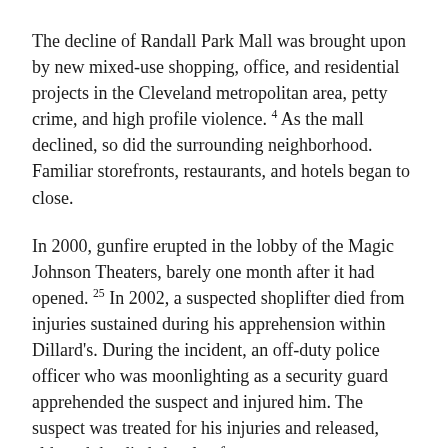The decline of Randall Park Mall was brought upon by new mixed-use shopping, office, and residential projects in the Cleveland metropolitan area, petty crime, and high profile violence. 4 As the mall declined, so did the surrounding neighborhood. Familiar storefronts, restaurants, and hotels began to close.
In 2000, gunfire erupted in the lobby of the Magic Johnson Theaters, barely one month after it had opened. 25 In 2002, a suspected shoplifter died from injuries sustained during his apprehension within Dillard's. During the incident, an off-duty police officer who was moonlighting as a security guard apprehended the suspect and injured him. The suspect was treated for his injuries and released, although he died shortly after.